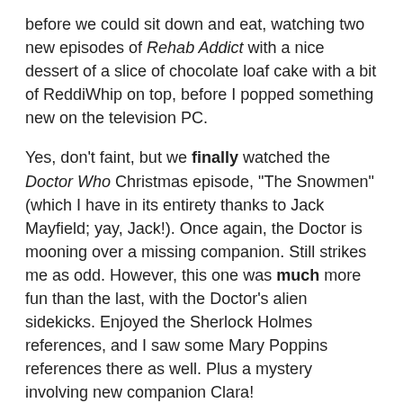before we could sit down and eat, watching two new episodes of Rehab Addict with a nice dessert of a slice of chocolate loaf cake with a bit of ReddiWhip on top, before I popped something new on the television PC.
Yes, don't faint, but we finally watched the Doctor Who Christmas episode, "The Snowmen" (which I have in its entirety thanks to Jack Mayfield; yay, Jack!). Once again, the Doctor is mooning over a missing companion. Still strikes me as odd. However, this one was much more fun than the last, with the Doctor's alien sidekicks. Enjoyed the Sherlock Holmes references, and I saw some Mary Poppins references there as well. Plus a mystery involving new companion Clara!
And best of all...no sharks!
Next, I popped on the first three episodes of Edwardian Farm. This will be a long series, twelve one-hour episodes, lots of historical goodness with the same team as in Victorian Farm, Ruth Goodman, Alex Langlands and Peter Ginn. This time they are in Devon bringing a vintage farm